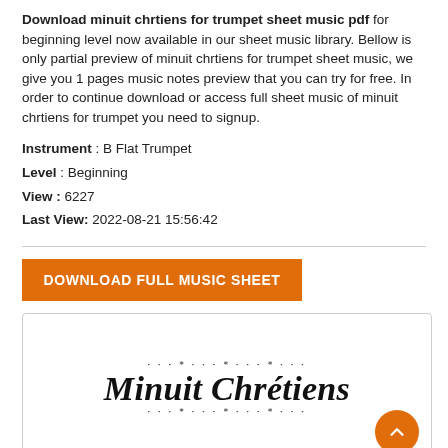Download minuit chrtiens for trumpet sheet music pdf for beginning level now available in our sheet music library. Bellow is only partial preview of minuit chrtiens for trumpet sheet music, we give you 1 pages music notes preview that you can try for free. In order to continue download or access full sheet music of minuit chrtiens for trumpet you need to signup.
Instrument : B Flat Trumpet
Level : Beginning
View : 6227
Last View: 2022-08-21 15:56:42
DOWNLOAD FULL MUSIC SHEET
[Figure (illustration): Sheet music preview box showing decorative script title 'Minuit Chrétiens' with star/dot decorative border elements]